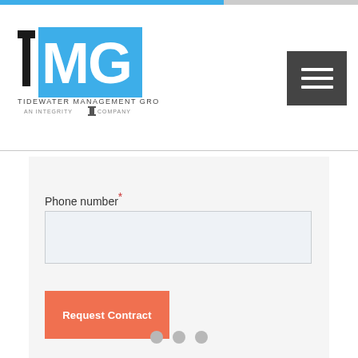Tidewater Management Group logo and navigation
Phone number*
[Figure (screenshot): Phone number input text field, empty, with light blue-gray background]
Request Contract